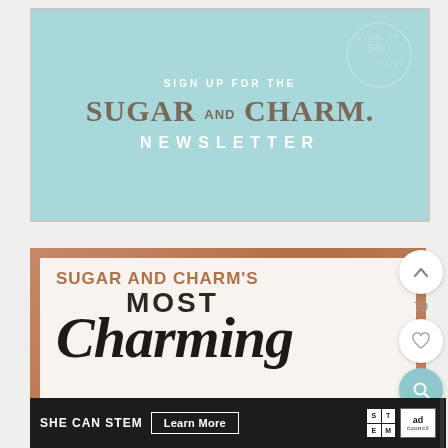[Figure (illustration): Newsletter signup banner for Sugar and Charm with light teal/aqua background. Text reads: SIGN UP FOR THE SUGAR AND CHARM NEWSLETTER in white and tan serif letters. Circular watermark in top right corner.]
[Figure (illustration): Card with copper/rose gold border and cream interior. Text reads: SUGAR AND CHARM'S MOST Charming in copper and dark serif/script lettering.]
[Figure (infographic): Right sidebar with circular up-arrow button, number 79, heart button, and teal search/magnify button.]
[Figure (infographic): Bottom ad banner: SHE CAN STEM with Learn More button, STEM logo grid, and Ad Council logo.]